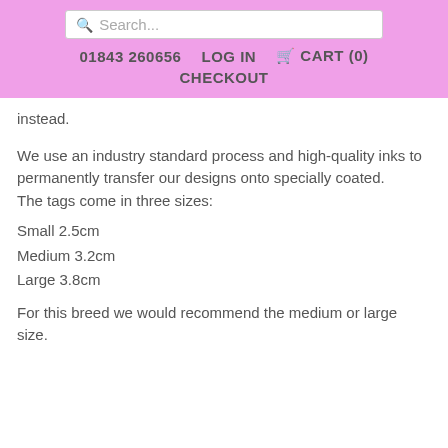Search... | 01843 260656 | LOG IN | CART (0) | CHECKOUT
instead.
We use an industry standard process and high-quality inks to permanently transfer our designs onto specially coated.
The tags come in three sizes:
Small 2.5cm
Medium 3.2cm
Large 3.8cm
For this breed we would recommend the medium or large size.